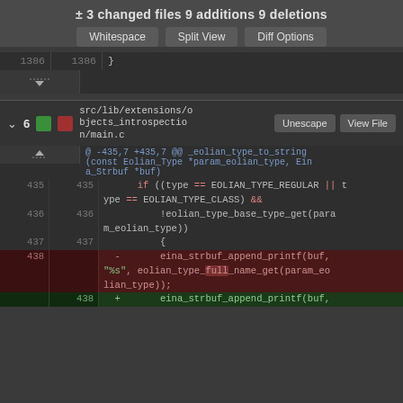± 3 changed files 9 additions 9 deletions
Whitespace  Split View  Diff Options
1386  1386      }
[Figure (screenshot): Expand section button icon]
src/lib/extensions/objects_introspection/main.c
6  [green badge][red badge]  Unescape  View File
@ -435,7 +435,7 @@ _eolian_type_to_string (const Eolian_Type *param_eolian_type, Eina_Strbuf *buf)
435  435      if ((type == EOLIAN_TYPE_REGULAR || type == EOLIAN_TYPE_CLASS) &&
436  436          !eolian_type_base_type_get(param_eolian_type))
437  437          {
438  -      eina_strbuf_append_printf(buf, "%s", eolian_type_full_name_get(param_eolian_type));
438  +      eina_strbuf_append_printf(buf,